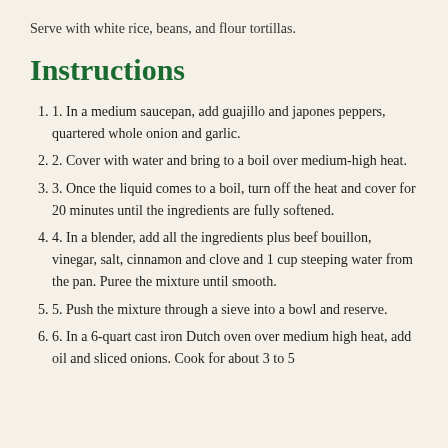Serve with white rice, beans, and flour tortillas.
Instructions
1. In a medium saucepan, add guajillo and japones peppers, quartered whole onion and garlic.
2. Cover with water and bring to a boil over medium-high heat.
3. Once the liquid comes to a boil, turn off the heat and cover for 20 minutes until the ingredients are fully softened.
4. In a blender, add all the ingredients plus beef bouillon, vinegar, salt, cinnamon and clove and 1 cup steeping water from the pan. Puree the mixture until smooth.
5. Push the mixture through a sieve into a bowl and reserve.
6. In a 6-quart cast iron Dutch oven over medium high heat, add oil and sliced onions. Cook for about 3 to 5